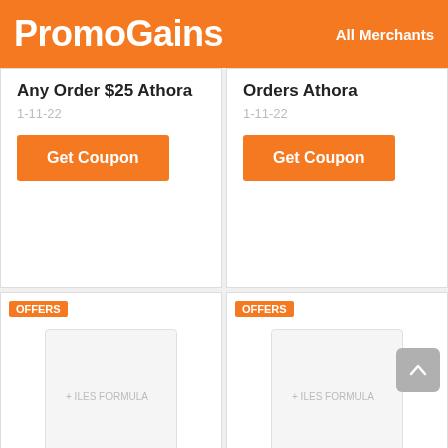PromoGains  All Merchants
Any Order $25 Athora
1-11-22
Get Coupon
Orders Athora
1-11-22
Get Coupon
OFFERS
Ilesformula.Com
20% Off Promo Code
1-11-22
Get Deal
OFFERS
Ilesformula.Com
Shop Now And Save $149
1-12-22
Get Deal
OFFERS
OFFERS